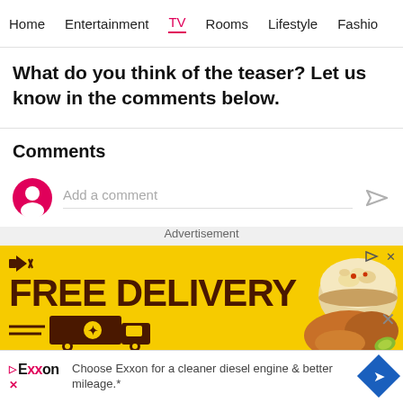Home  Entertainment  TV  Rooms  Lifestyle  Fashion
What do you think of the teaser? Let us know in the comments below.
Comments
Add a comment
[Figure (screenshot): Advertisement banner: FREE DELIVERY with yellow background, food delivery truck graphic, bowl of rice image]
Choose Exxon for a cleaner diesel engine & better mileage.*